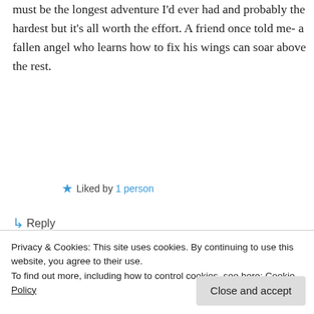must be the longest adventure I'd ever had and probably the hardest but it's all worth the effort. A friend once told me- a fallen angel who learns how to fix his wings can soar above the rest.
★ Liked by 1 person
↪ Reply
Patti Clark on May 9, 2015 at 7:58 am
Privacy & Cookies: This site uses cookies. By continuing to use this website, you agree to their use.
To find out more, including how to control cookies, see here: Cookie Policy
Close and accept